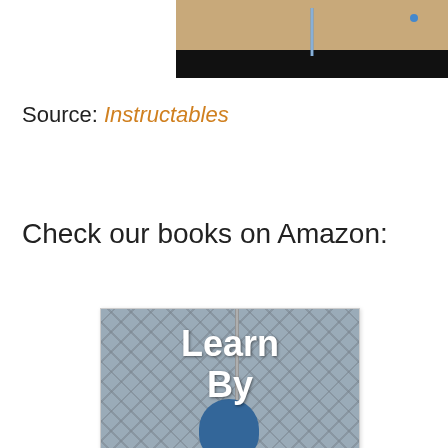[Figure (photo): Top portion of a photo showing a wooden floor surface with a thin rod or wire and a black bar at the bottom of the image]
Source: Instructables
Check our books on Amazon:
[Figure (photo): Book cover image showing text 'Learn By' over a tiled background with a pole or rod in the foreground]